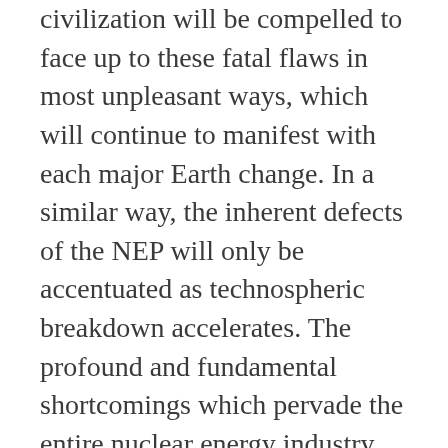civilization will be compelled to face up to these fatal flaws in most unpleasant ways, which will continue to manifest with each major Earth change. In a similar way, the inherent defects of the NEP will only be accentuated as technospheric breakdown accelerates. The profound and fundamental shortcomings which pervade the entire nuclear energy industry can no longer be hidden or ignored.
After all, it was the dangerous combination of willful blindness and feigned ignorance which got the world into this position in the first place.